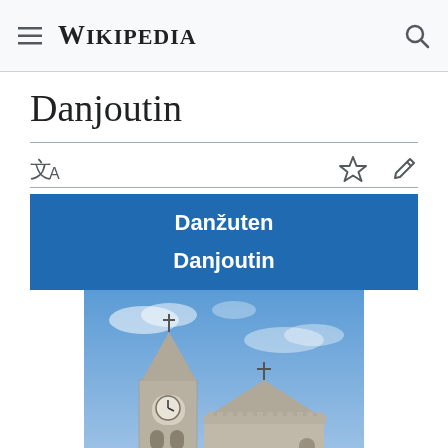Wikipedia
Danjoutin
Danžuten
Danjoutin
[Figure (photo): Photograph of Danjoutin church with stone bell tower with clock, pointed spire with cross on top, and stone chapel with cross, set against a blue sky.]